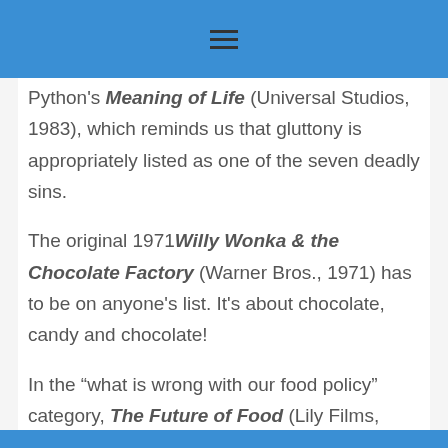≡
Python's Meaning of Life (Universal Studios, 1983), which reminds us that gluttony is appropriately listed as one of the seven deadly sins.
The original 1971 Willy Wonka & the Chocolate Factory (Warner Bros., 1971) has to be on anyone's list. It's about chocolate, candy and chocolate!
In the “what is wrong with our food policy” category, The Future of Food (Lily Films,